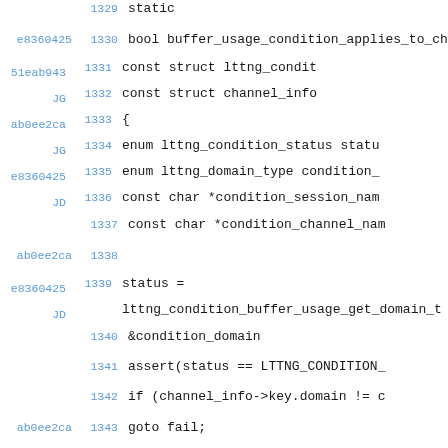1329 static
e8360425 1330 bool buffer_usage_condition_applies_to_ch
51eab943 1331             const struct lttng_condit
JG
         1332             const struct channel_info
ab0ee2ca 1333 {
JG
         1334         enum lttng_condition_status statu
e8360425 1335         enum lttng_domain_type condition_
JD
         1336         const char *condition_session_nam
         1337         const char *condition_channel_nam
ab0ee2ca 1338
e8360425 1339         status =
JD
         lttng_condition_buffer_usage_get_domain_t
1340                         &condition_domain
1341         assert(status == LTTNG_CONDITION_
1342         if (channel_info->key.domain != c
ab0ee2ca 1343         goto fail;